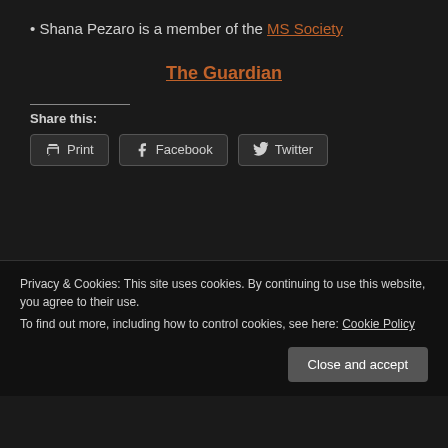Shana Pezaro is a member of the MS Society
The Guardian
Share this:
Print  Facebook  Twitter
Privacy & Cookies: This site uses cookies. By continuing to use this website, you agree to their use.
To find out more, including how to control cookies, see here: Cookie Policy
Close and accept